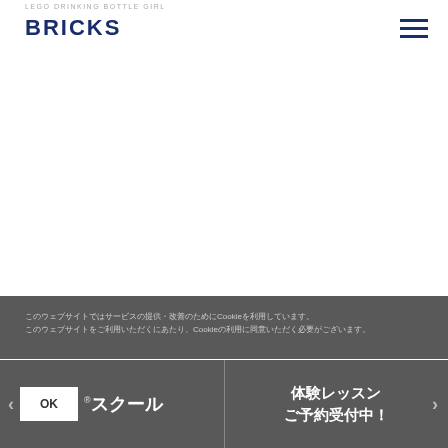LEGO DRINKING BOTTLE GIRL
BRICKS
このウェブサイトではサービスの提供・改善のためにCookieを利用しています。このウェブサイトをご利用いただくにあたり、Cookieの利用に同意いただく必要がございます。
OK
®スクール
体験レッスン ご予約受付中！